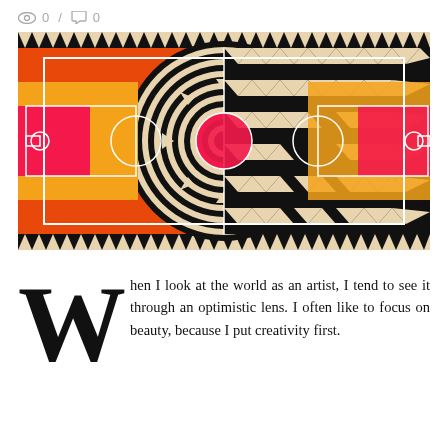0 / 0
[Figure (illustration): Artistic basketball court design with African/tribal geometric patterns. Left half features concentric black and cream rings with triangles on an orange/red background. Right half features black and cream zigzag chevron pattern with orange/red background. Both halves show standard basketball court markings (key, three-point line, center circle) in white. Bordered top and bottom with black bands of triangular tooth patterns.]
hen I look at the world as an artist, I tend to see it through an optimistic lens. I often like to focus on beauty, because I put creativity first.
I am myself open to it in a way that often comes to a list of art, which